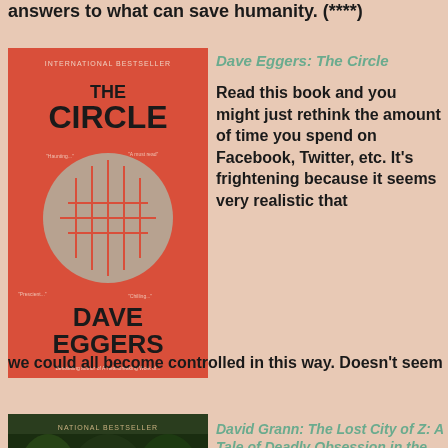answers to what can save humanity. (****)
Dave Eggers: The Circle
Read this book and you might just rethink the amount of time you spend on Facebook, Twitter, etc. It's frightening because it seems very realistic that we could all become controlled in this way. Doesn't seem like fiction at all. (***)
David Grann: The Lost City of Z: A Tale of Deadly Obsession in the Amazon
This book is hard to rate. There are parts that are so boring they put me to sleep, and other parts that enthralled me and put me on the edge of my seat. I have been disappointed with both of the Lost